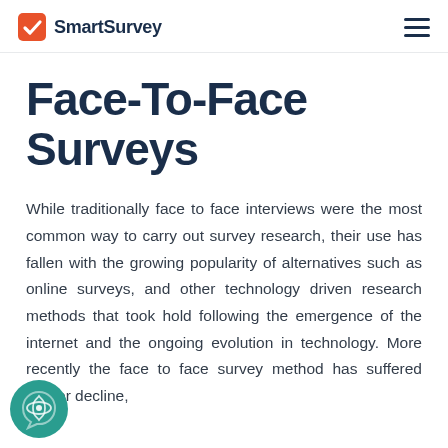SmartSurvey
Face-To-Face Surveys
While traditionally face to face interviews were the most common way to carry out survey research, their use has fallen with the growing popularity of alternatives such as online surveys, and other technology driven research methods that took hold following the emergence of the internet and the ongoing evolution in technology. More recently the face to face survey method has suffered further decline,